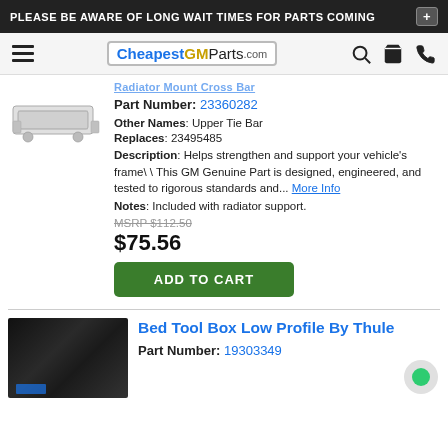PLEASE BE AWARE OF LONG WAIT TIMES FOR PARTS COMING +
[Figure (logo): CheapestGMParts.com logo with navigation icons (hamburger menu, search, cart, phone)]
Part Number: 23360282
Other Names: Upper Tie Bar
Replaces: 23495485
Description: Helps strengthen and support your vehicle's frame\ \ This GM Genuine Part is designed, engineered, and tested to rigorous standards and... More Info
Notes: Included with radiator support.
MSRP $112.50
$75.56
ADD TO CART
Bed Tool Box Low Profile By Thule
Part Number: 19303349